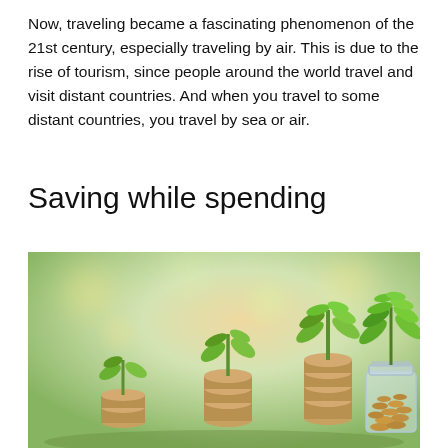Now, traveling became a fascinating phenomenon of the 21st century, especially traveling by air. This is due to the rise of tourism, since people around the world travel and visit distant countries. And when you travel to some distant countries, you travel by sea or air.
Saving while spending
[Figure (photo): Photo of three stacks of coins with green plant seedlings growing on top of them, and a glass jar filled with coins on the right, all set against a blurred green outdoor background. The stacks increase in height from left to right, symbolizing financial growth and savings.]